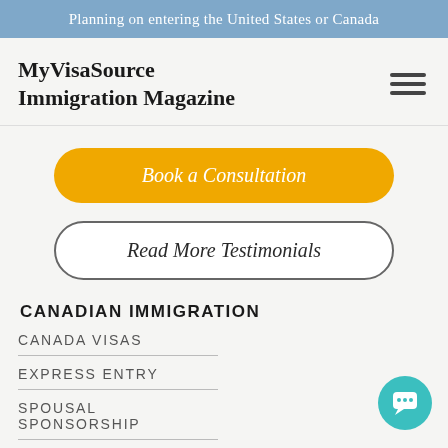Planning on entering the United States or Canada
MyVisaSource Immigration Magazine
Book a Consultation
Read More Testimonials
CANADIAN IMMIGRATION
CANADA VISAS
EXPRESS ENTRY
SPOUSAL SPONSORSHIP